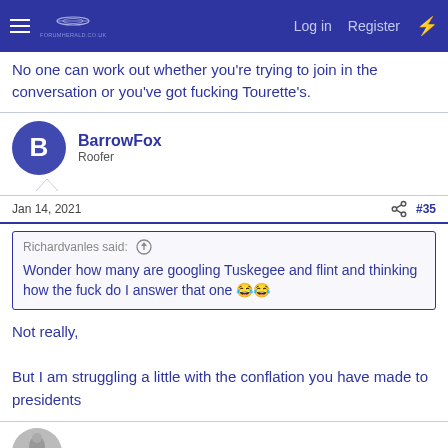Log in  Register
No one can work out whether you're trying to join in the conversation or you've got fucking Tourette's.
BarrowFox
Roofer
Jan 14, 2021  #35
Richardvanles said: ↑
Wonder how many are googling Tuskegee and flint and thinking how the fuck do I answer that one 😂😂
Not really,

But I am struggling a little with the conflation you have made to presidents
sixthswan